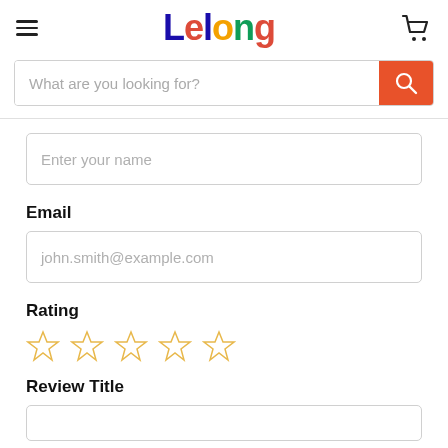Lelong
What are you looking for?
Enter your name
Email
john.smith@example.com
Rating
Review Title